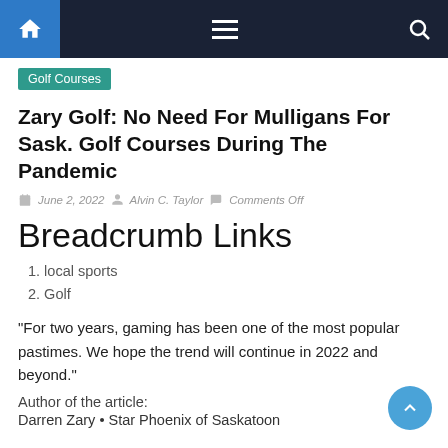Navigation bar with home, menu, and search icons
Golf Courses
Zary Golf: No Need For Mulligans For Sask. Golf Courses During The Pandemic
June 2, 2022  Alvin C. Taylor  Comments Off
Breadcrumb Links
1. local sports
2. Golf
“For two years, gaming has been one of the most popular pastimes. We hope the trend will continue in 2022 and beyond.”
Author of the article:
Darren Zary • Star Phoenix of Saskatoon